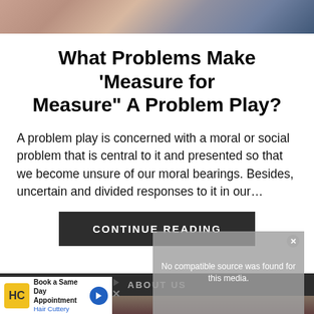[Figure (photo): Top portion of a photo showing a person wearing a blue denim jacket, partially cropped]
What Problems Make 'Measure for Measure" A Problem Play?
A problem play is concerned with a moral or social problem that is central to it and presented so that we become unsure of our moral bearings. Besides, uncertain and divided responses to it in our…
CONTINUE READING
No compatible source was found for this media.
ABOUT US
Book a Same Day Appointment Hair Cuttery